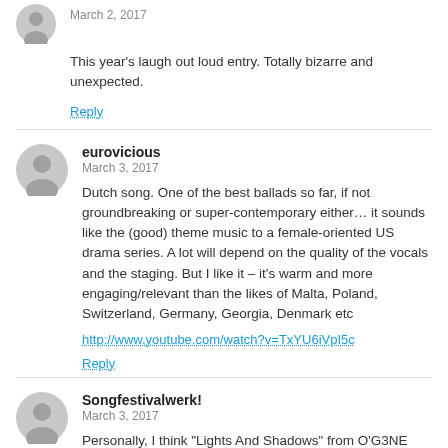March 2, 2017
This year's laugh out loud entry. Totally bizarre and unexpected.
Reply
eurovicious
March 3, 2017
Dutch song. One of the best ballads so far, if not groundbreaking or super-contemporary either… it sounds like the (good) theme music to a female-oriented US drama series. A lot will depend on the quality of the vocals and the staging. But I like it – it's warm and more engaging/relevant than the likes of Malta, Poland, Switzerland, Germany, Georgia, Denmark etc
http://www.youtube.com/watch?v=TxYU6iVpI5c
Reply
Songfestivalwerk!
March 3, 2017
Personally, I think "Lights And Shadows" from O'G3NE doesn't 'stick' to me melody-wise like other